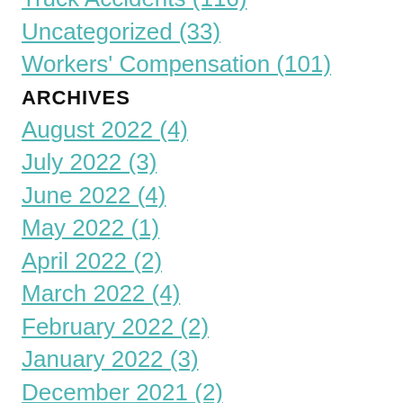Truck Accidents (116)
Uncategorized (33)
Workers' Compensation (101)
ARCHIVES
August 2022 (4)
July 2022 (3)
June 2022 (4)
May 2022 (1)
April 2022 (2)
March 2022 (4)
February 2022 (2)
January 2022 (3)
December 2021 (2)
November 2021 (3)
October 2021 (2)